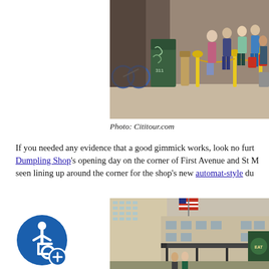[Figure (photo): Street scene showing people lined up outside a shop with yellow stanchions and chains, a green graffiti-covered mailbox on the sidewalk, bicycles parked to the left.]
Photo: Cititour.com
If you needed any evidence that a good gimmick works, look no further than Dumpling Shop's opening day on the corner of First Avenue and St M... seen lining up around the corner for the shop's new automat-style du...
[Figure (photo): Exterior of a large building with an American flag, modern canopy structure in front, green logo sign visible on right side.]
[Figure (other): Blue accessibility icon with a wheelchair symbol and a plus sign below.]